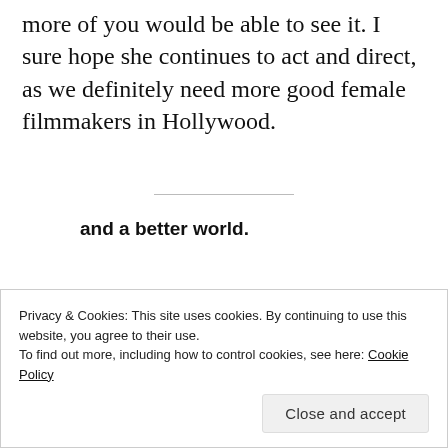more of you would be able to see it. I sure hope she continues to act and direct, as we definitely need more good female filmmakers in Hollywood.
and a better world.
[Figure (illustration): Apply button (blue) and circular photo of a person]
Privacy & Cookies: This site uses cookies. By continuing to use this website, you agree to their use.
To find out more, including how to control cookies, see here: Cookie Policy
Close and accept